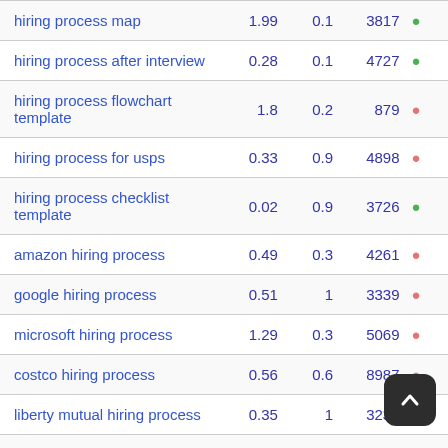| keyword | col1 | col2 | col3 |  |
| --- | --- | --- | --- | --- |
| hiring process map | 1.99 | 0.1 | 3817 |  |
| hiring process after interview | 0.28 | 0.1 | 4727 |  |
| hiring process flowchart template | 1.8 | 0.2 | 879 |  |
| hiring process for usps | 0.33 | 0.9 | 4898 |  |
| hiring process checklist template | 0.02 | 0.9 | 3726 |  |
| amazon hiring process | 0.49 | 0.3 | 4261 |  |
| google hiring process | 0.51 | 1 | 3339 |  |
| microsoft hiring process | 1.29 | 0.3 | 5069 |  |
| costco hiring process | 0.56 | 0.6 | 8987 |  |
| liberty mutual hiring process | 0.35 | 1 | 3235 |  |
| usps hiring process | 0.81 | 0.2 | 674 |  |
| h&r block hiring process | 1.34 | 0.6 | 9863 |  |